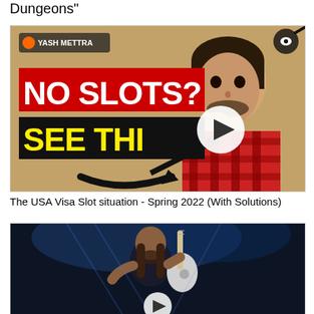Dungeons"
[Figure (screenshot): YouTube video thumbnail showing 'NO SLOTS? SEE THIS' text with a young man in red plaid shirt, branded with YASH METTRA logo, brown background with play button overlay]
The USA Visa Slot situation - Spring 2022 (With Solutions)
[Figure (screenshot): YouTube video thumbnail showing a musician playing guitar on a dark blue stage with a play button overlay at the bottom]